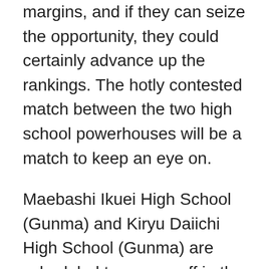margins, and if they can seize the opportunity, they could certainly advance up the rankings. The hotly contested match between the two high school powerhouses will be a match to keep an eye on.
Maebashi Ikuei High School (Gunma) and Kiryu Daiichi High School (Gunma) are scheduled to square off in the Gunma derby this week. Over the years, the two sides have competed for the seat to the All Japan High School Soccer Tournament. Maebashi Ikuei have dominated the prefectural qualifiers, making 24 appearances in the national tournament while Kiryu Daiichi have only